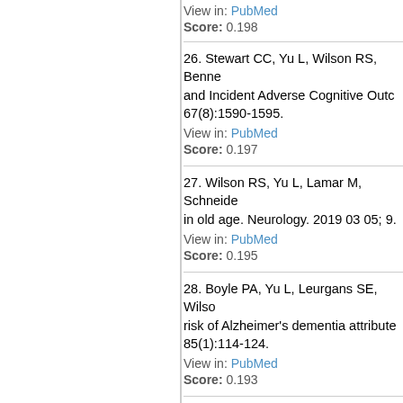View in: PubMed
Score: 0.198
26. Stewart CC, Yu L, Wilson RS, Benne... and Incident Adverse Cognitive Outc... 67(8):1590-1595.
View in: PubMed
Score: 0.197
27. Wilson RS, Yu L, Lamar M, Schneide... in old age. Neurology. 2019 03 05; 9...
View in: PubMed
Score: 0.195
28. Boyle PA, Yu L, Leurgans SE, Wilso... risk of Alzheimer's dementia attribute... 85(1):114-124.
View in: PubMed
Score: 0.193
29. Lamar M, Wilson RS, Yu L, James B... literacy with diabetes indicators in ol... 73(3):250-255.
View in: PubMed
Score: 0.193